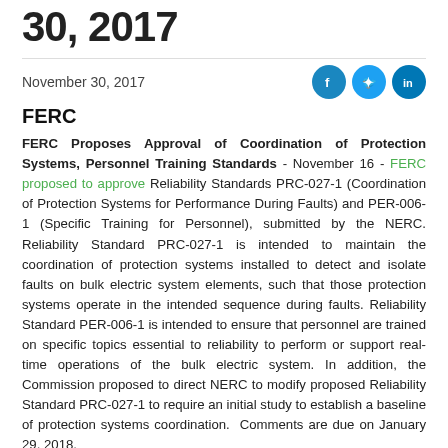30, 2017
November 30, 2017
FERC
FERC Proposes Approval of Coordination of Protection Systems, Personnel Training Standards - November 16 - FERC proposed to approve Reliability Standards PRC-027-1 (Coordination of Protection Systems for Performance During Faults) and PER-006-1 (Specific Training for Personnel), submitted by the NERC. Reliability Standard PRC-027-1 is intended to maintain the coordination of protection systems installed to detect and isolate faults on bulk electric system elements, such that those protection systems operate in the intended sequence during faults. Reliability Standard PER-006-1 is intended to ensure that personnel are trained on specific topics essential to reliability to perform or support real-time operations of the bulk electric system. In addition, the Commission proposed to direct NERC to modify proposed Reliability Standard PRC-027-1 to require an initial study to establish a baseline of protection systems coordination. Comments are due on January 29, 2018.